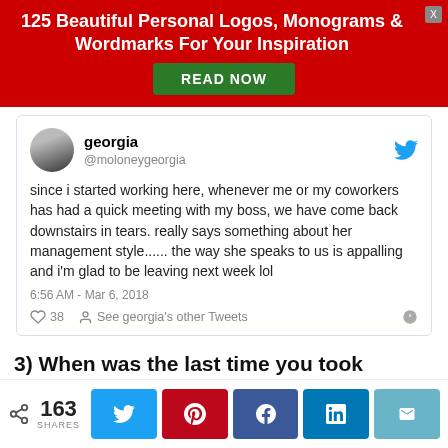125 Beautiful Personal Logos, Monograms & Wordmarks For Your Inspiration
[Figure (screenshot): Embedded tweet from @moloneygeorgia (georgia) saying 'since i started working here, whenever me or my coworkers has had a quick meeting with my boss, we have come back downstairs in tears. really says something about her management style...... the way she speaks to us is appalling and i'm glad to be leaving next week lol' posted at 6:56 AM - Mar 6, 2018, with 38 likes]
3) When was the last time you took forward an employee suggestion or idea?
Bad managers don't follow up on employee ideas.
163 SHARES